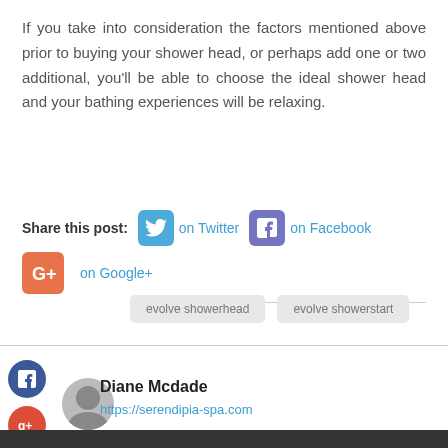If you take into consideration the factors mentioned above prior to buying your shower head, or perhaps add one or two additional, you'll be able to choose the ideal shower head and your bathing experiences will be relaxing.
Share this post: on Twitter on Facebook on Google+
evolve showerhead  evolve showerstart
Diane Mcdade
https://serendipia-spa.com